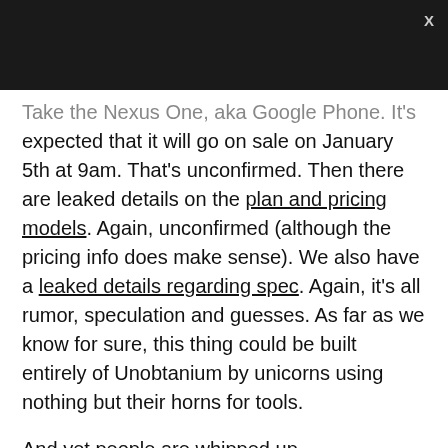Take the Nexus One, aka Google Phone. It's expected that it will go on sale on January 5th at 9am. That's unconfirmed. Then there are leaked details on the plan and pricing models. Again, unconfirmed (although the pricing info does make sense). We also have a leaked details regarding spec. Again, it's all rumor, speculation and guesses. As far as we know for sure, this thing could be built entirely of Unobtanium by unicorns using nothing but their horns for tools.
And yet people are whipped up.
The problem is that despite the torrent of leaks, we